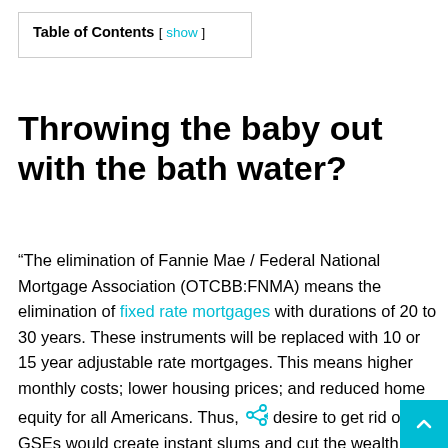| Table of Contents | [ show ] |
| --- | --- |
Throwing the baby out with the bath water?
“The elimination of Fannie Mae / Federal National Mortgage Association (OTCBB:FNMA) means the elimination of fixed rate mortgages with durations of 20 to 30 years. These instruments will be replaced with 10 or 15 year adjustable rate mortgages. This means higher monthly costs; lower housing prices; and reduced home equity for all Americans. Thus, the desire to get rid of the GSEs would create instant slums and cut the wealth of every American household who owns his/her own home,” says Richard X Bove, banking analyst and V.P. Equity Research at Rafferty Capital Markets, in his research